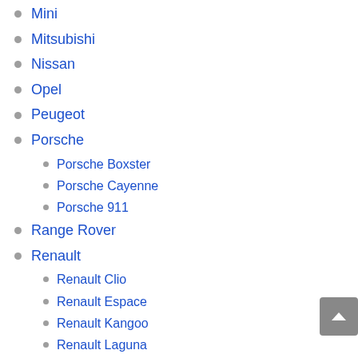Mini
Mitsubishi
Nissan
Opel
Peugeot
Porsche
Porsche Boxster
Porsche Cayenne
Porsche 911
Range Rover
Renault
Renault Clio
Renault Espace
Renault Kangoo
Renault Laguna
Renault Megane
Renault Scenic
Renault Twingo
Rolls Royce
Saab